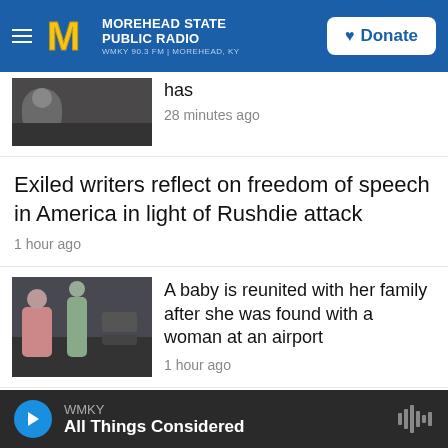Morehead State Public Radio — WMKY 90.3 FM | MOREHEAD, KY
has
28 minutes ago
Exiled writers reflect on freedom of speech in America in light of Rushdie attack
1 hour ago
A baby is reunited with her family after she was found with a woman at an airport
1 hour ago
6 key numbers that reveal the staggering impact of Russia's war in Ukraine
WMKY — All Things Considered